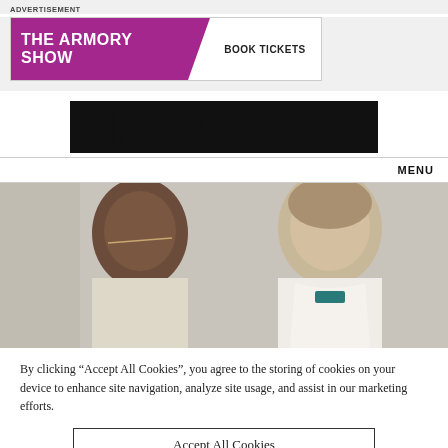ADVERTISEMENT
[Figure (illustration): The Armory Show advertisement banner with purple background and 'BOOK TICKETS' button]
BROOKLYN
MENU
[Figure (photo): Photo of a man wearing glasses and a woman in a white coat, appearing to be in a medical or professional setting]
By clicking “Accept All Cookies”, you agree to the storing of cookies on your device to enhance site navigation, analyze site usage, and assist in our marketing efforts.
Accept All Cookies